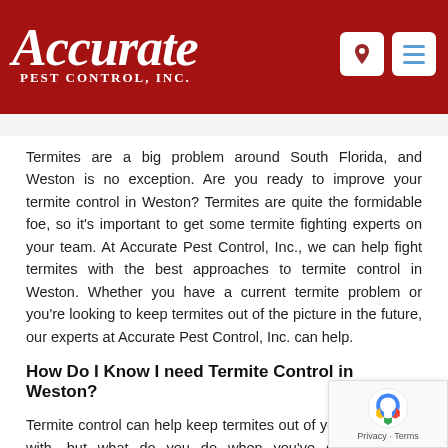Accurate Pest Control, Inc.
Termites are a big problem around South Florida, and Weston is no exception. Are you ready to improve your termite control in Weston? Termites are quite the formidable foe, so it’s important to get some termite fighting experts on your team. At Accurate Pest Control, Inc., we can help fight termites with the best approaches to termite control in Weston. Whether you have a current termite problem or you’re looking to keep termites out of the picture in the future, our experts at Accurate Pest Control, Inc. can help.
How Do I Know I need Termite Control in Weston?
Termite control can help keep termites out of your prop begin with, but what do you do when you’ve got an active infestation? There’s no need to panic. Just call our pest fighting